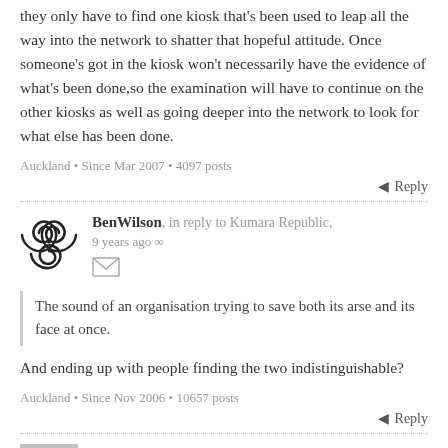they only have to find one kiosk that's been used to leap all the way into the network to shatter that hopeful attitude. Once someone's got in the kiosk won't necessarily have the evidence of what's been done,so the examination will have to continue on the other kiosks as well as going deeper into the network to look for what else has been done.
Auckland • Since Mar 2007 • 4097 posts
Reply
BenWilson, in reply to Kumara Republic, 9 years ago
The sound of an organisation trying to save both its arse and its face at once.
And ending up with people finding the two indistinguishable?
Auckland • Since Nov 2006 • 10657 posts
Reply
cognitive_hazard, in reply to Russell Clarke, 9 years ago